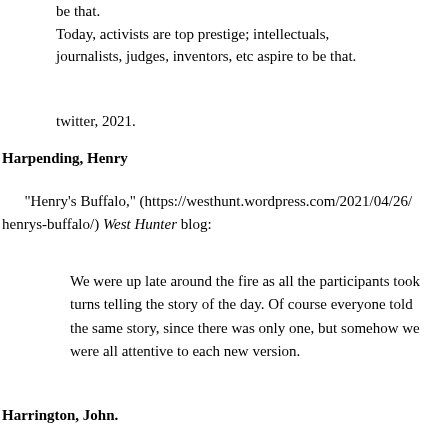be that.
Today, activists are top prestige; intellectuals, journalists, judges, inventors, etc aspire to be that.
twitter, 2021.
Harpending, Henry
"Henry's Buffalo," (https://westhunt.wordpress.com/2021/04/26/henrys-buffalo/) West Hunter blog:
We were up late around the fire as all the participants took turns telling the story of the day. Of course everyone told the same story, since there was only one, but somehow we were all attentive to each new version.
Harrington, John.